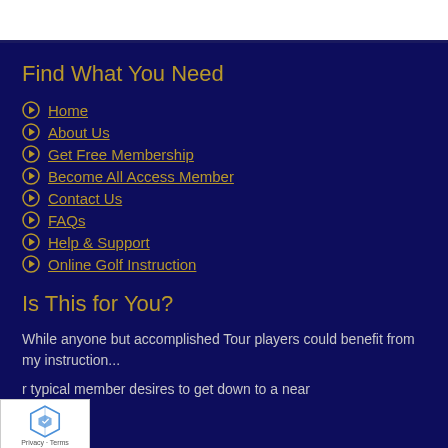Find What You Need
Home
About Us
Get Free Membership
Become All Access Member
Contact Us
FAQs
Help & Support
Online Golf Instruction
Is This for You?
While anyone but accomplished Tour players could benefit from my instruction...
r typical member desires to get down to a near